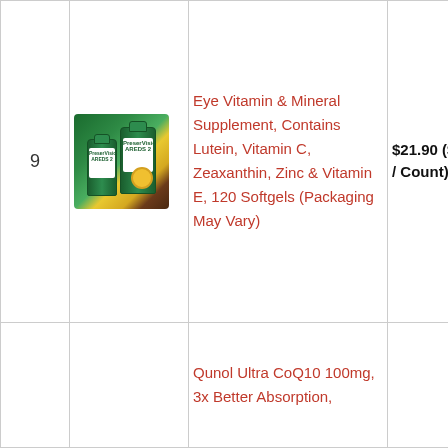| # | Image | Product | Price | Action |
| --- | --- | --- | --- | --- |
| 9 | [product image] | Eye Vitamin & Mineral Supplement, Contains Lutein, Vitamin C, Zeaxanthin, Zinc & Vitamin E, 120 Softgels (Packaging May Vary) | $21.90 ($0.18 / Count) | Buy Ama... |
|  |  | Qunol Ultra CoQ10 100mg, 3x Better Absorption, |  |  |